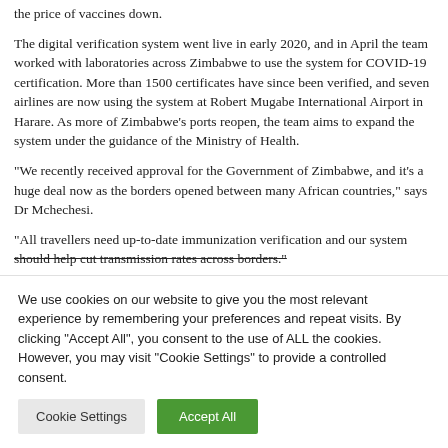the price of vaccines down.
The digital verification system went live in early 2020, and in April the team worked with laboratories across Zimbabwe to use the system for COVID-19 certification. More than 1500 certificates have since been verified, and seven airlines are now using the system at Robert Mugabe International Airport in Harare. As more of Zimbabwe’s ports reopen, the team aims to expand the system under the guidance of the Ministry of Health.
“We recently received approval for the Government of Zimbabwe, and it’s a huge deal now as the borders opened between many African countries,” says Dr Mchechesi.
“All travellers need up-to-date immunization verification and our system should help cut transmission rates across borders.”
We use cookies on our website to give you the most relevant experience by remembering your preferences and repeat visits. By clicking “Accept All”, you consent to the use of ALL the cookies. However, you may visit "Cookie Settings" to provide a controlled consent.